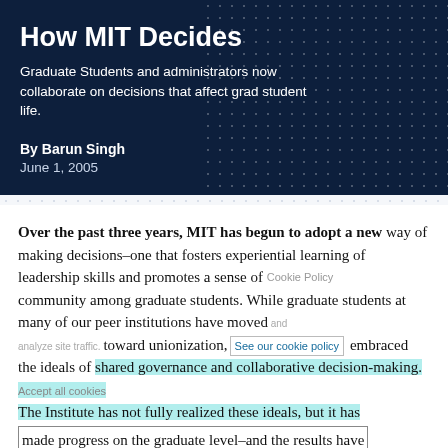How MIT Decides
Graduate Students and administrators now collaborate on decisions that affect grad student life.
By Barun Singh
June 1, 2005
Over the past three years, MIT has begun to adopt a new way of making decisions–one that fosters experiential learning of leadership skills and promotes a sense of community among graduate students. While graduate students at many of our peer institutions have moved toward unionization, MIT has embraced the ideals of shared governance and collaborative decision-making. The Institute has not fully realized these ideals, but it has made progress on the graduate level–and the results have been overwhelmingly positive.